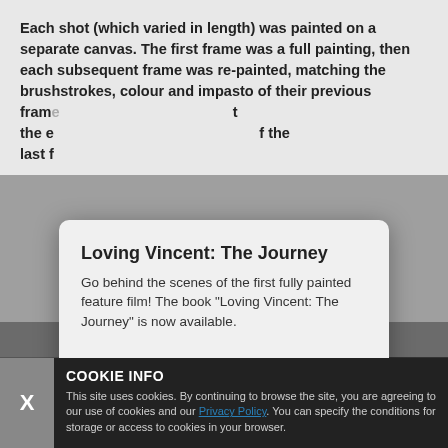Each shot (which varied in length) was painted on a separate canvas. The first frame was a full painting, then each subsequent frame was re-painted, matching the brushstrokes, colour and impasto of their previous frame... the e... of the last f...
[Figure (screenshot): Modal popup overlay with title 'Loving Vincent: The Journey', body text about a book, and ORDER NOW / close links]
NEWSLETTER
Sign up... news...
COOKIE INFO
This site uses cookies. By continuing to browse the site, you are agreeing to our use of cookies and our Privacy Policy. You can specify the conditions for storage or access to cookies in your browser.